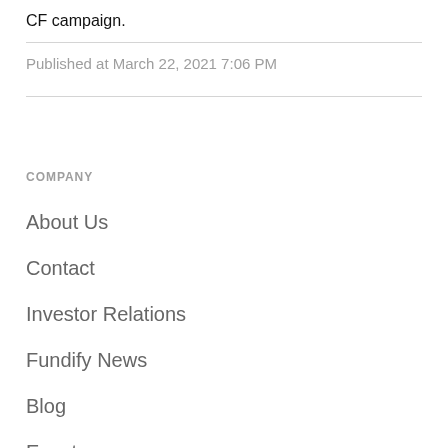CF campaign.
Published at March 22, 2021 7:06 PM
COMPANY
About Us
Contact
Investor Relations
Fundify News
Blog
Events
Terms of Use